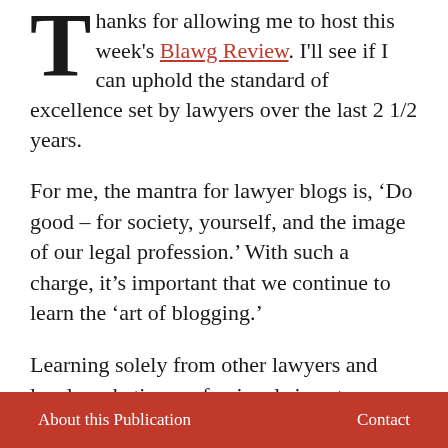Thanks for allowing me to host this week's Blawg Review. I'll see if I can uphold the standard of excellence set by lawyers over the last 2 1/2 years.
For me, the mantra for lawyer blogs is, 'Do good – for society, yourself, and the image of our legal profession.' With such a charge, it's important that we continue to learn the 'art of blogging.'
Learning solely from other lawyers and legal marketing professionals is not enough. In addition to learning from all of you, I've
About this Publication   Contact